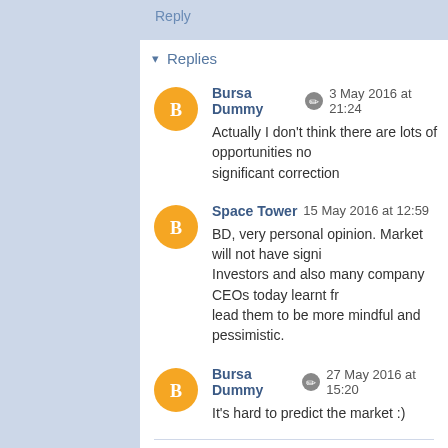Reply
▾ Replies
Bursa Dummy  3 May 2016 at 21:24
Actually I don't think there are lots of opportunities now... significant correction
Space Tower  15 May 2016 at 12:59
BD, very personal opinion. Market will not have signi... Investors and also many company CEOs today learnt fr... lead them to be more mindful and pessimistic.
Bursa Dummy  27 May 2016 at 15:20
It's hard to predict the market :)
Reply